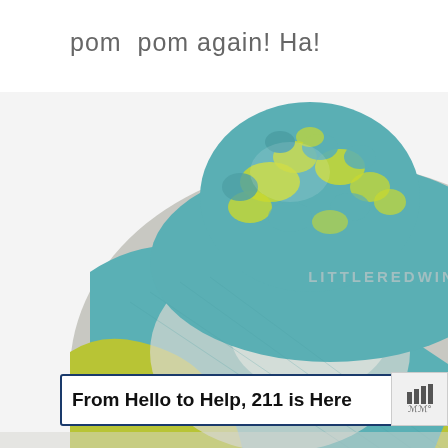pom  pom again! Ha!
[Figure (photo): Close-up photo of a knitted hat with zig-zag color-block pattern in teal, yellow-green, and gray, topped with a large teal and yellow pom-pom. Watermark 'LITTLEREDWINDOW.COM' overlays the image. A heart button with '1.1K' count and a share button appear on the right side. A 'WHAT'S NEXT' panel shows a thumbnail of another hat labeled 'Evaporation Zig Zag Hat...']
From Hello to Help, 211 is Here